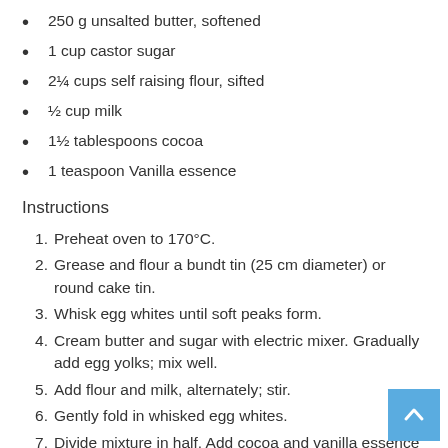250 g unsalted butter, softened
1 cup castor sugar
2¼ cups self raising flour, sifted
½ cup milk
1½ tablespoons cocoa
1 teaspoon Vanilla essence
Instructions
Preheat oven to 170°C.
Grease and flour a bundt tin (25 cm diameter) or round cake tin.
Whisk egg whites until soft peaks form.
Cream butter and sugar with electric mixer. Gradually add egg yolks; mix well.
Add flour and milk, alternately; stir.
Gently fold in whisked egg whites.
Divide mixture in half. Add cocoa and vanilla essence to